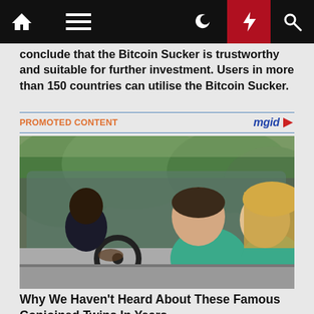[Navigation bar with home, menu, moon, lightning, search icons]
conclude that the Bitcoin Sucker is trustworthy and suitable for further investment. Users in more than 150 countries can utilise the Bitcoin Sucker.
PROMOTED CONTENT   mgid
[Figure (photo): Two young women in a car, smiling and leaning out the window. Trees visible in background.]
Why We Haven't Heard About These Famous Conjoined Twins In Years
Traitslab